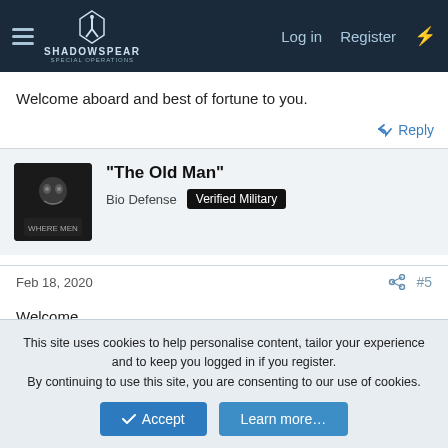ShadowSpear Special Operations — Log in | Register
Welcome aboard and best of fortune to you.
Reply
"The Old Man"
Bio Defense  Verified Military
Feb 18, 2020  #5
Welcome.
Reply
This site uses cookies to help personalise content, tailor your experience and to keep you logged in if you register.
By continuing to use this site, you are consenting to our use of cookies.